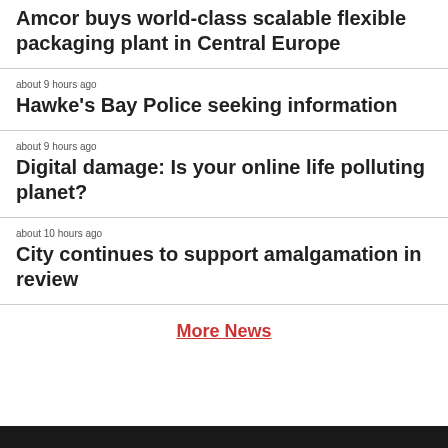Amcor buys world-class scalable flexible packaging plant in Central Europe
about 9 hours ago
Hawke's Bay Police seeking information
about 9 hours ago
Digital damage: Is your online life polluting planet?
about 10 hours ago
City continues to support amalgamation in review
More News